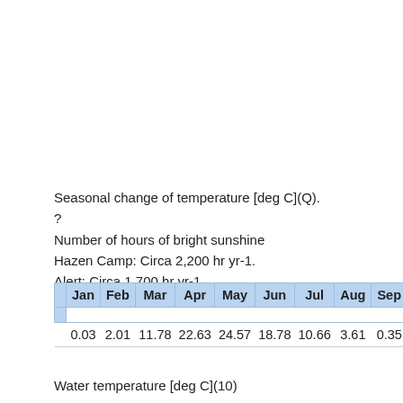Seasonal change of temperature [deg C](Q).
?
Number of hours of bright sunshine
Hazen Camp: Circa 2,200 hr yr-1.
Alert: Circa 1,700 hr yr-1.
Solar radiation (Alert)[MJ m-2 day-1](8a)
|  | Jan | Feb | Mar | Apr | May | Jun | Jul | Aug | Sep | Oc... |
| --- | --- | --- | --- | --- | --- | --- | --- | --- | --- | --- |
|  | 0.03 | 2.01 | 11.78 | 22.63 | 24.57 | 18.78 | 10.66 | 3.61 | 0.35 | - |
Water temperature [deg C](10)